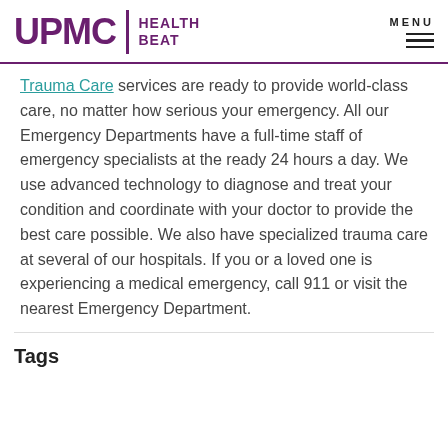UPMC | HEALTH BEAT  MENU
Trauma Care services are ready to provide world-class care, no matter how serious your emergency. All our Emergency Departments have a full-time staff of emergency specialists at the ready 24 hours a day. We use advanced technology to diagnose and treat your condition and coordinate with your doctor to provide the best care possible. We also have specialized trauma care at several of our hospitals. If you or a loved one is experiencing a medical emergency, call 911 or visit the nearest Emergency Department.
Tags